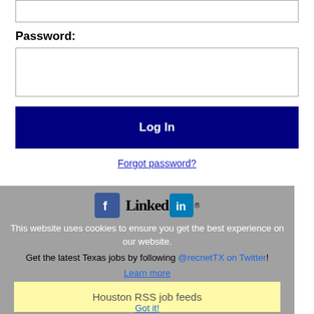Password:
[Figure (screenshot): Login form with password input field, Log In button, and Forgot password link]
Forgot password?
[Figure (screenshot): Cookie consent overlay with Facebook and LinkedIn icons, cookie notice text, Twitter follow suggestion, Houston RSS job feeds button, and Got it! button]
This website uses cookies to ensure you get the best experience on our website.
Get the latest Texas jobs by following @recnetTX on Twitter!
Houston RSS job feeds
Got it!